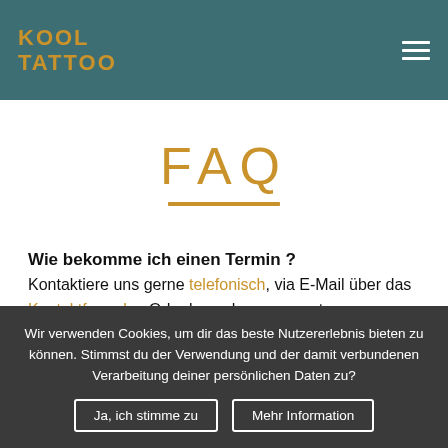[Figure (logo): Kool Tattoo logo in golden/amber text on teal background, stylized text arrangement]
FAQ
Wie bekomme ich einen Termin ?
Kontaktiere uns gerne telefonisch, via E-Mail über das Kontaktformular. Oder besuche uns spontan zu unseren
Wir verwenden Cookies, um dir das beste Nutzererlebnis bieten zu können. Stimmst du der Verwendung und der damit verbundenen Verarbeitung deiner persönlichen Daten zu?